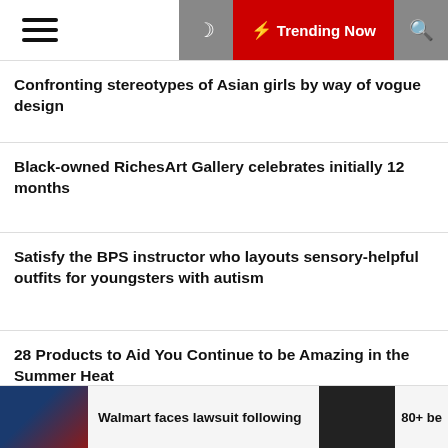≡ ☾ ⚡ Trending Now 🔍
Confronting stereotypes of Asian girls by way of vogue design
Black-owned RichesArt Gallery celebrates initially 12 months
Satisfy the BPS instructor who layouts sensory-helpful outfits for youngsters with autism
28 Products to Aid You Continue to be Amazing in the Summer Heat
Categories
Walmart faces lawsuit following
80+ be